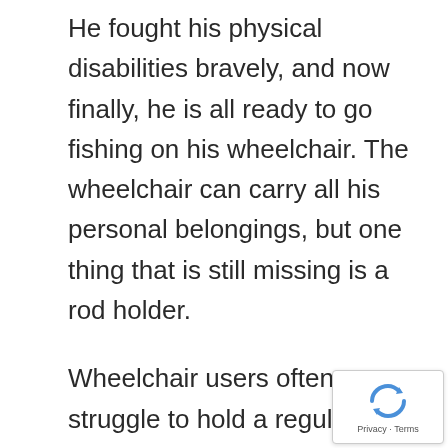He fought his physical disabilities bravely, and now finally, he is all ready to go fishing on his wheelchair. The wheelchair can carry all his personal belongings, but one thing that is still missing is a rod holder.
Wheelchair users often struggle to hold a regular fishing pole, making it difficult to reel in the catch. Some fishing poles come with holders that attach to the pole, but these holders can be cumbersome and difficult to